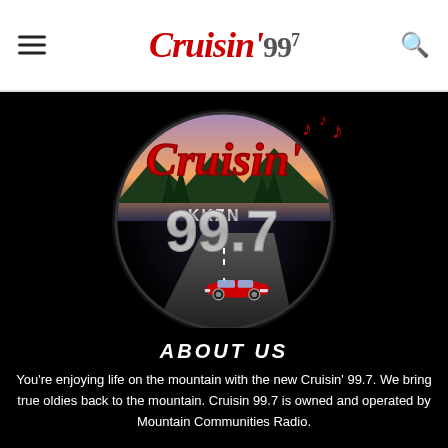Cruisin' 99.7 — Navigation header with menu and search icons
[Figure (logo): Cruisin' KKZN 99.7 radio station logo: large circular emblem on black background featuring the word 'Cruisin'' in red script with a scenic mountain/sunset, musical notes, KKZN call letters, '99.7' in silver metallic numbers, and a classic red 1957 Chevrolet car on a road.]
ABOUT US
You're enjoying life on the mountain with the new Cruisin' 99.7. We bring true oldies back to the mountain. Cruisin 99.7 is owned and operated by Mountain Communities Radio.